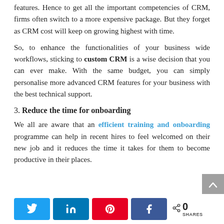features. Hence to get all the important competencies of CRM, firms often switch to a more expensive package. But they forget as CRM cost will keep on growing highest with time.
So, to enhance the functionalities of your business wide workflows, sticking to custom CRM is a wise decision that you can ever make. With the same budget, you can simply personalise more advanced CRM features for your business with the best technical support.
3. Reduce the time for onboarding
We all are aware that an efficient training and onboarding programme can help in recent hires to feel welcomed on their new job and it reduces the time it takes for them to become productive in their places.
[Figure (infographic): Social share bar with Twitter, LinkedIn, Pinterest, Facebook buttons and a share count showing 0 SHARES]